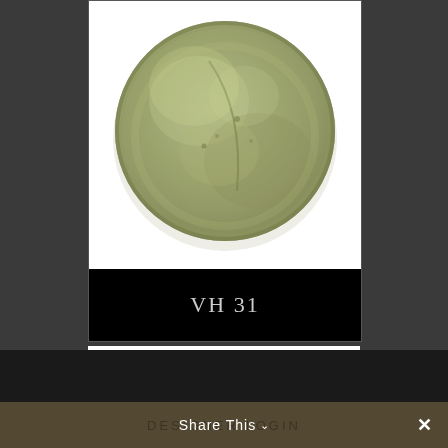[Figure (photo): Close-up photograph of an ancient coin with a greenish patina, circular shape, worn surface showing faint markings or relief, photographed against a white background.]
VH 31
DESIGNER LOGIN   Share This ∨  ✕